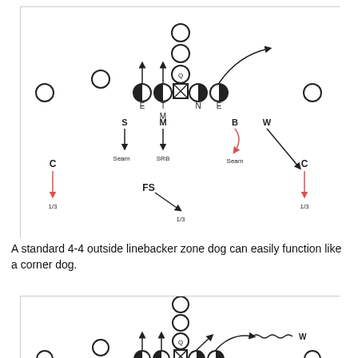[Figure (schematic): Football play diagram showing a 4-4 outside linebacker zone dog. Offensive and defensive players shown with circles and half-filled symbols, arrows indicating routes and assignments. Defenders labeled E, T, N, E, S, M, B, W, FS, C. Routes labeled Seam, SRB, 1/3.]
A standard 4-4 outside linebacker zone dog can easily function like a corner dog.
[Figure (schematic): Second football play diagram similar to the first, showing a corner dog variation of the 4-4 outside linebacker zone dog. Players labeled E, T, N, E, S, M, B, W, C with arrows and routes.]